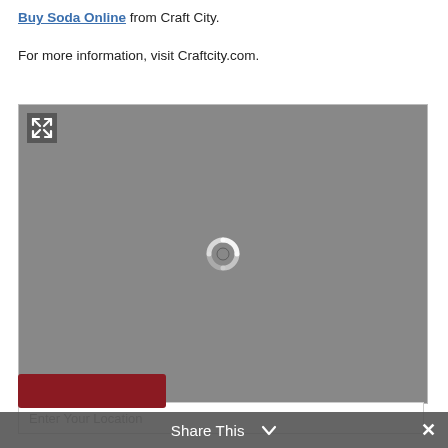Buy Soda Online from Craft City.
For more information, visit Craftcity.com.
[Figure (screenshot): A grey map loading placeholder with a fullscreen expand icon in the top-left corner and a spinning loader icon in the center.]
Enter Your Location
Share This ∨  ✕